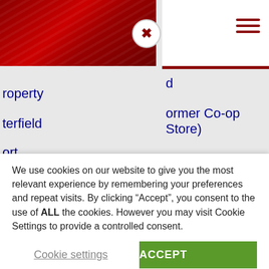[Figure (screenshot): Website navigation overlay with red header and close button on left panel, hamburger menu icon on right white header panel]
roperty
terfield
ort
enues
ts
d
ormer Co-op Store)
r Plan
We use cookies on our website to give you the most relevant experience by remembering your preferences and repeat visits. By clicking “Accept”, you consent to the use of ALL the cookies. However you may visit Cookie Settings to provide a controlled consent.
Cookie settings
ACCEPT